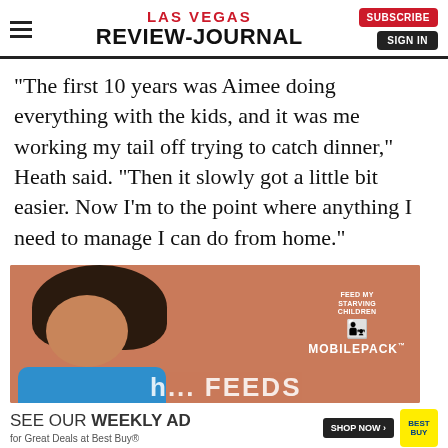Las Vegas Review-Journal — SUBSCRIBE | SIGN IN
“The first 10 years was Aimee doing everything with the kids, and it was me working my tail off trying to catch dinner,” Heath said. “Then it slowly got a little bit easier. Now I’m to the point where anything I need to manage I can do from home.”
[Figure (photo): Advertisement: Feed My Starving Children MobilePack™ — photo of a young child smiling against a salmon/terracotta background, with FMSC logo and mobilepack branding]
[Figure (advertisement): Best Buy advertisement: SEE OUR WEEKLY AD for Great Deals at Best Buy® — SHOP NOW button and Best Buy yellow logo]